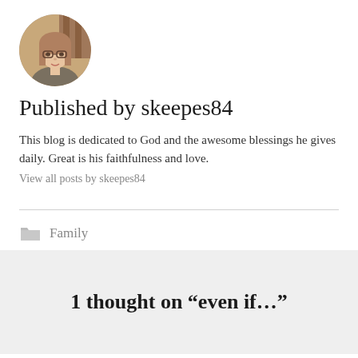[Figure (photo): Circular avatar photo of a woman with glasses and long hair, appearing to be outdoors]
Published by skeepes84
This blog is dedicated to God and the awesome blessings he gives daily. Great is his faithfulness and love.
View all posts by skeepes84
Family
1 thought on “even if…”